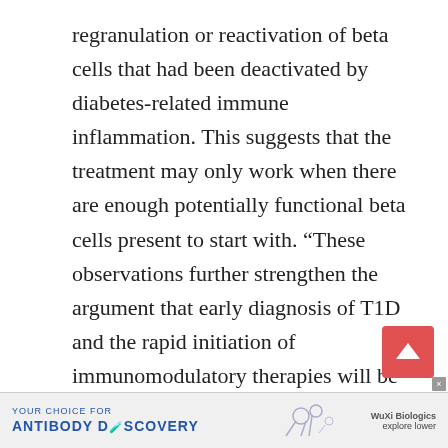regranulation or reactivation of beta cells that had been deactivated by diabetes-related immune inflammation. This suggests that the treatment may only work when there are enough potentially functional beta cells present to start with. “These observations further strengthen the argument that early diagnosis of T1D and the rapid initiation of immunomodulatory therapies will be necessary for efficacy,” they state.
“Our intervention effectively reverted diabetes in newly diagnosed diabetic NOD mice, with a success rate seldom approached in NOD mice,” the authors concl... explore lower
[Figure (other): Advertisement banner for WuXi Biologics antibody discovery service, with text 'YOUR CHOICE FOR ANTIBODY DISCOVERY' and 'WuXi Biologics explore lower']